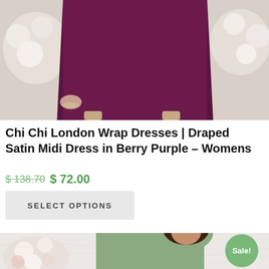[Figure (photo): Top portion of a woman wearing a berry purple satin midi wrap dress, shown from waist down, with flowers in background]
Chi Chi London Wrap Dresses | Draped Satin Midi Dress in Berry Purple – Womens
$ 138.70 $ 72.00
SELECT OPTIONS
[Figure (photo): Woman with long dark hair wearing a sage green satin halter neck midi dress, holding flowers, marble background; Sale! badge in top right corner]